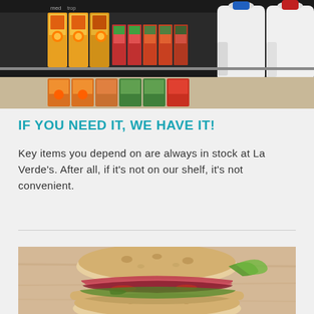[Figure (photo): Refrigerated grocery store shelves stocked with orange juice cartons, juice boxes, and white plastic milk jugs with blue and red caps]
IF YOU NEED IT, WE HAVE IT!
Key items you depend on are always in stock at La Verde's. After all, if it's not on our shelf, it's not convenient.
[Figure (photo): Close-up photo of a deli-style Italian sandwich with layers of ham, salami, lettuce, tomato and peppers on a ciabatta roll, stacked in two halves]